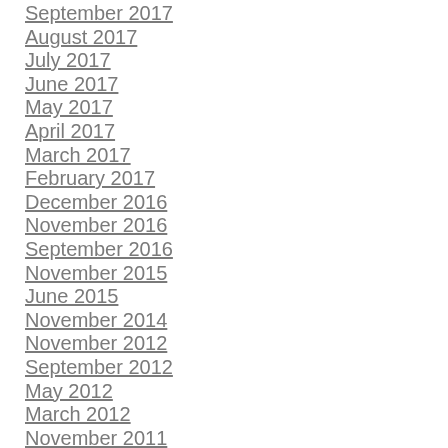September 2017
August 2017
July 2017
June 2017
May 2017
April 2017
March 2017
February 2017
December 2016
November 2016
September 2016
November 2015
June 2015
November 2014
November 2012
September 2012
May 2012
March 2012
November 2011